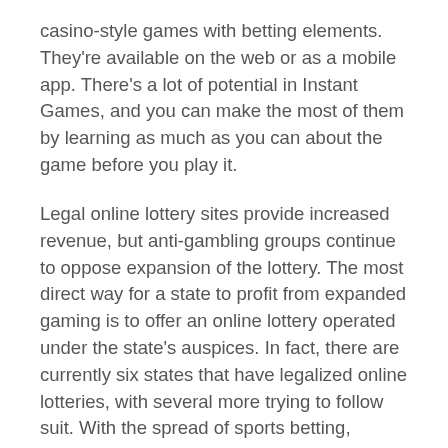casino-style games with betting elements. They're available on the web or as a mobile app. There's a lot of potential in Instant Games, and you can make the most of them by learning as much as you can about the game before you play it.
Legal online lottery sites provide increased revenue, but anti-gambling groups continue to oppose expansion of the lottery. The most direct way for a state to profit from expanded gaming is to offer an online lottery operated under the state's auspices. In fact, there are currently six states that have legalized online lotteries, with several more trying to follow suit. With the spread of sports betting, there's a high likelihood that online lottery sites will eventually compete with online casinos.
Many lottery players prefer to play the lottery in person. They trust the process and feel confident that they'll be paid if they win. Using an online lottery site can be risky for this reason. However, the rewards can be life-changing if you win the lottery jackpot. It's worth checking out the lottery app options